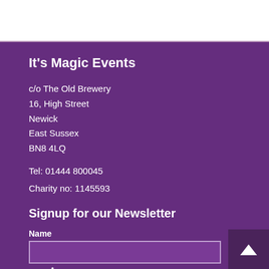It's Magic Events
c/o The Old Brewery
16, High Street
Newick
East Sussex
BN8 4LQ
Tel: 01444 800045
Charity no: 1145593
Signup for our Newsletter
Name
Email*